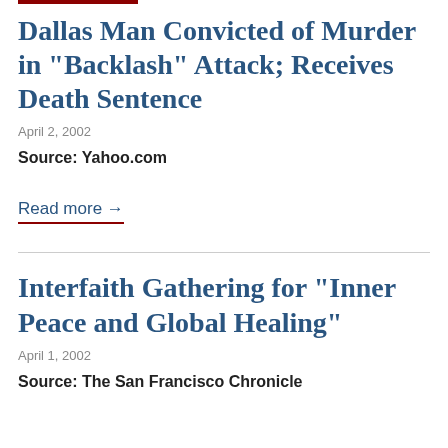Dallas Man Convicted of Murder in "Backlash" Attack; Receives Death Sentence
April 2, 2002
Source: Yahoo.com
Read more →
Interfaith Gathering for "Inner Peace and Global Healing"
April 1, 2002
Source: The San Francisco Chronicle